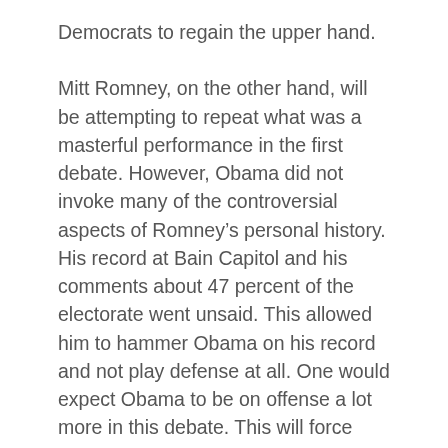Democrats to regain the upper hand.
Mitt Romney, on the other hand, will be attempting to repeat what was a masterful performance in the first debate.  However, Obama did not invoke many of the controversial aspects of Romney’s personal history.  His record at Bain Capitol and his comments about 47 percent of the electorate went unsaid.  This allowed him to hammer Obama on his record and not play defense at all.  One would expect Obama to be on offense a lot more in this debate.  This will force Romney to defend the comments and his wealth in a debate setting.
Almost 70 million people tuned in to watch the first encounter between these two men.  Normally there is a diminishing return on debates.  Chances are less